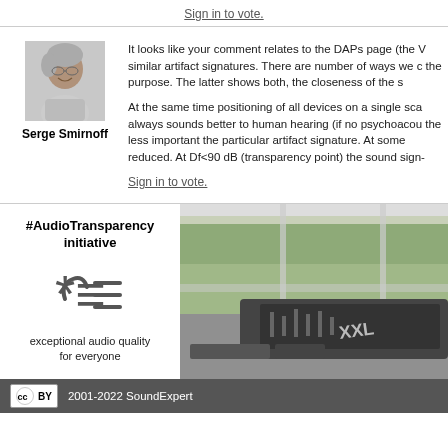Sign in to vote.
It looks like your comment relates to the DAPs page (the V similar artifact signatures. There are number of ways we c the purpose. The latter shows both, the closeness of the s
[Figure (photo): Profile photo of Serge Smirnoff, a man with gray hair smiling]
Serge Smirnoff
At the same time positioning of all devices on a single sca always sounds better to human hearing (if no psychoacou the less important the particular artifact signature. At some reduced. At Df<90 dB (transparency point) the sound sign-
Sign in to vote.
#AudioTransparency initiative
[Figure (logo): AudioTransparency initiative logo with stylized headphone and lines icon]
exceptional audio quality for everyone
[Figure (photo): Photo of a professional audio mixing console in a studio with windows and garden view]
2001-2022 SoundExpert